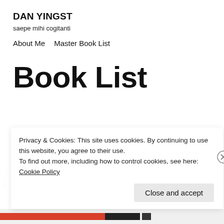DAN YINGST
saepe mihi cogitanti
About Me    Master Book List
Book List
Privacy & Cookies: This site uses cookies. By continuing to use this website, you agree to their use.
To find out more, including how to control cookies, see here: Cookie Policy
Close and accept